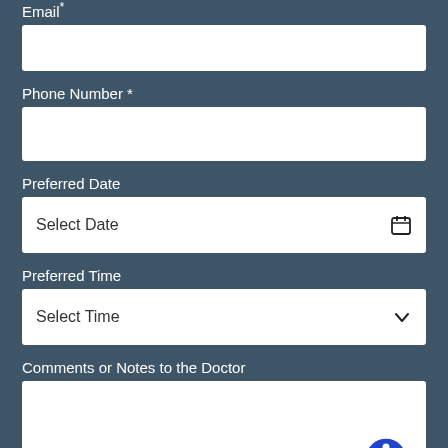Email*
[Figure (other): Email input text field (empty)]
Phone Number *
[Figure (other): Phone Number input text field (empty)]
Preferred Date
[Figure (other): Date picker field showing 'Select Date' with calendar icon]
Preferred Time
[Figure (other): Dropdown field showing 'Select Time' with chevron icon]
Comments or Notes to the Doctor
[Figure (other): Large textarea input for comments, with accessibility icon in bottom-right corner]